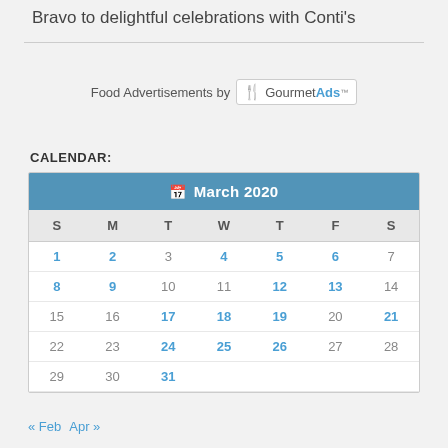Bravo to delightful celebrations with Conti's
[Figure (logo): Food Advertisements by GourmetAds logo]
CALENDAR:
| S | M | T | W | T | F | S |
| --- | --- | --- | --- | --- | --- | --- |
| 1 | 2 | 3 | 4 | 5 | 6 | 7 |
| 8 | 9 | 10 | 11 | 12 | 13 | 14 |
| 15 | 16 | 17 | 18 | 19 | 20 | 21 |
| 22 | 23 | 24 | 25 | 26 | 27 | 28 |
| 29 | 30 | 31 |  |  |  |  |
« Feb  Apr »